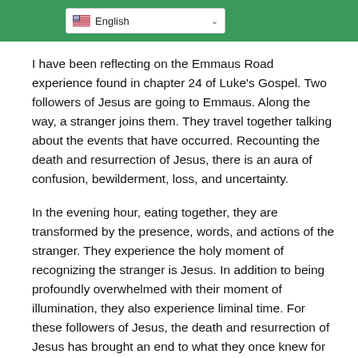English
I have been reflecting on the Emmaus Road experience found in chapter 24 of Luke's Gospel. Two followers of Jesus are going to Emmaus. Along the way, a stranger joins them. They travel together talking about the events that have occurred. Recounting the death and resurrection of Jesus, there is an aura of confusion, bewilderment, loss, and uncertainty.
In the evening hour, eating together, they are transformed by the presence, words, and actions of the stranger. They experience the holy moment of recognizing the stranger is Jesus. In addition to being profoundly overwhelmed with their moment of illumination, they also experience liminal time. For these followers of Jesus, the death and resurrection of Jesus has brought an end to what they once knew for certain, that the religious patterns and the institutional structures were going to crumble.
However, with the death and resurrection of Jesus, they experienced an overwhelming journey of seeking to discover the meaning of all these things, and subsequently, the human patterns that would develop after this unbelievable event.